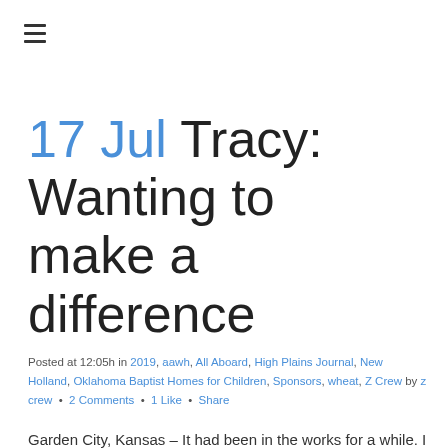≡
17 Jul Tracy: Wanting to make a difference
Posted at 12:05h in 2019, aawh, All Aboard, High Plains Journal, New Holland, Oklahoma Baptist Homes for Children, Sponsors, wheat, Z Crew by z crew • 2 Comments • 1 Like • Share
Garden City, Kansas – It had been in the works for a while. I received an email from Michael with the Oklahoma Baptist…